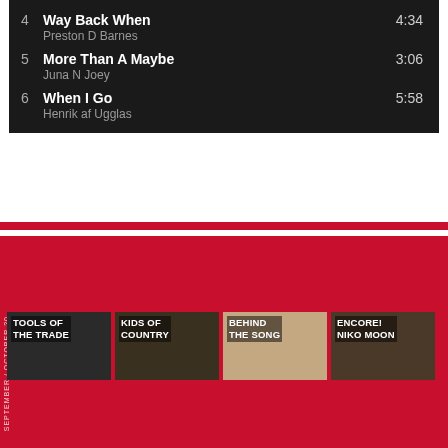4  Way Back When  4:34  Preston D Barnes
5  More Than A Maybe  3:06  Juna N Joey
6  When I Go  5:58  Henrik af Ugglas
[Figure (other): Four thumbnail images in a row on a red background: Tools of the Trade, Kids of Country, Behind the Song, Encore! Niko Moon. Below is large red text reading MAVERICK.]